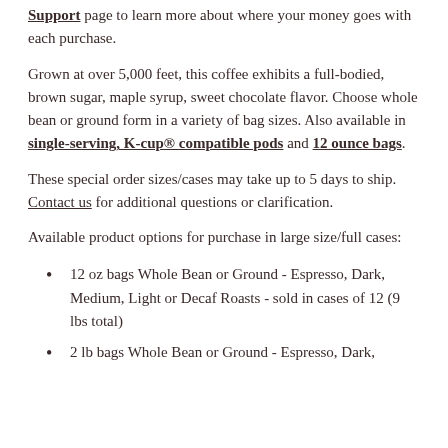Support page to learn more about where your money goes with each purchase.
Grown at over 5,000 feet, this coffee exhibits a full-bodied, brown sugar, maple syrup, sweet chocolate flavor. Choose whole bean or ground form in a variety of bag sizes. Also available in single-serving, K-cup® compatible pods and 12 ounce bags.
These special order sizes/cases may take up to 5 days to ship. Contact us for additional questions or clarification.
Available product options for purchase in large size/full cases:
12 oz bags Whole Bean or Ground - Espresso, Dark, Medium, Light or Decaf Roasts - sold in cases of 12 (9 lbs total)
2 lb bags Whole Bean or Ground - Espresso, Dark,